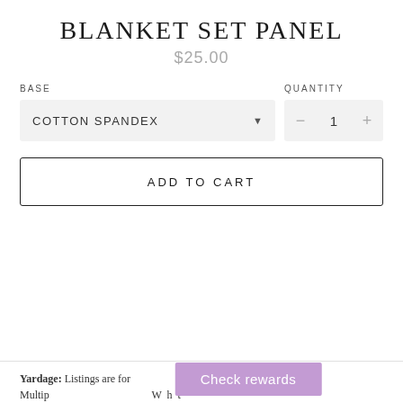BLANKET SET PANEL
$25.00
BASE
QUANTITY
COTTON SPANDEX
1
ADD TO CART
Yardage: Listings are for along selvage. Multip...
[Figure (screenshot): Check rewards button overlay in purple]